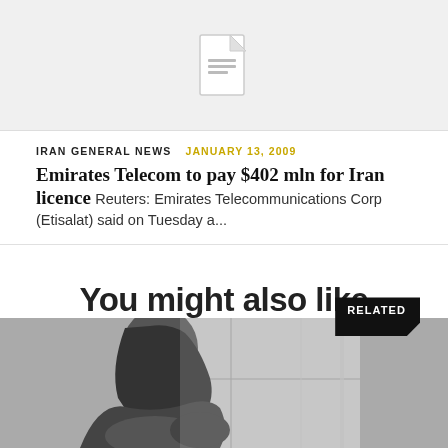[Figure (illustration): Document/file icon on light gray background]
IRAN GENERAL NEWS   JANUARY 13, 2009
Emirates Telecom to pay $402 mln for Iran licence
Reuters: Emirates Telecommunications Corp (Etisalat) said on Tuesday a...
RELATED
You might also like
Recommended to you
[Figure (photo): Black and white photo of a person sitting by a window]